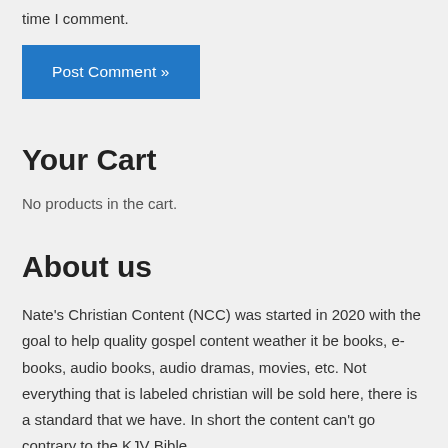time I comment.
Post Comment »
Your Cart
No products in the cart.
About us
Nate's Christian Content (NCC) was started in 2020 with the goal to help quality gospel content weather it be books, e-books, audio books, audio dramas, movies, etc. Not everything that is labeled christian will be sold here, there is a standard that we have.  In short the content can't go contrary to the KJV Bible.